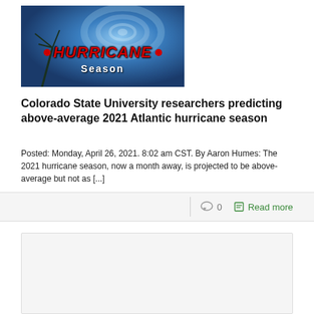[Figure (photo): Hurricane Season graphic with blue satellite hurricane image background, red bold italic text 'HURRICANE' flanked by red bullet circles, and white 'Season' text below]
Colorado State University researchers predicting above-average 2021 Atlantic hurricane season
Posted: Monday, April 26, 2021. 8:02 am CST. By Aaron Humes: The 2021 hurricane season, now a month away, is projected to be above-average but not as [...]
0  Read more